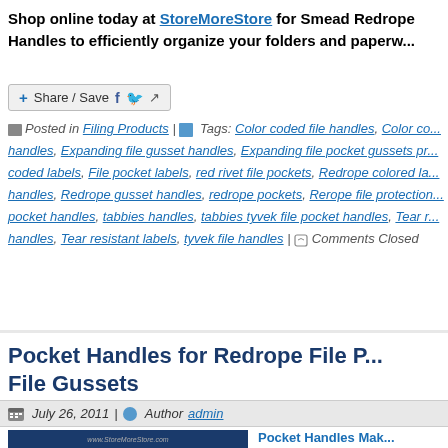Shop online today at StoreMoreStore for Smead Redrope Handles to efficiently organize your folders and paperwo...
[Figure (screenshot): Share/Save button with Facebook and Twitter icons]
Posted in Filing Products | Tags: Color coded file handles, Color co... handles, Expanding file gusset handles, Expanding file pocket gussets pr... coded labels, File pocket labels, red rivet file pockets, Redrope colored la... handles, Redrope gusset handles, redrope pockets, Rerope file protection... pocket handles, tabbies handles, tabbies tyvek file pocket handles, Tear r... handles, Tear resistant labels, tyvek file handles | Comments Closed
Pocket Handles for Redrope File P... File Gussets
July 26, 2011 | Author admin
[Figure (photo): Image of file folders/documents with www.StoreMoreStore.com watermark on dark blue background]
Pocket Handles Mak... Are you tired of searching...